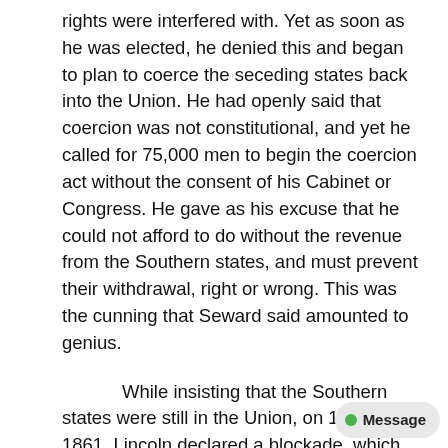rights were interfered with. Yet as soon as he was elected, he denied this and began to plan to coerce the seceding states back into the Union. He had openly said that coercion was not constitutional, and yet he called for 75,000 men to begin the coercion act without the consent of his Cabinet or Congress. He gave as his excuse that he could not afford to do without the revenue from the Southern states, and must prevent their withdrawal, right or wrong. This was the cunning that Seward said amounted to genius.
While insisting that the Southern states were still in the Union, on 19 July 1861, Lincoln declared a blockade, which brought untold suffering and privation on the people of the South. No nation can blockade her own ports. When England and France declared neutrality, Lincoln, fearing they would later acknowledge the seceding states as a Confederacy, issued his Emancipation Proclamation in the hope of con...